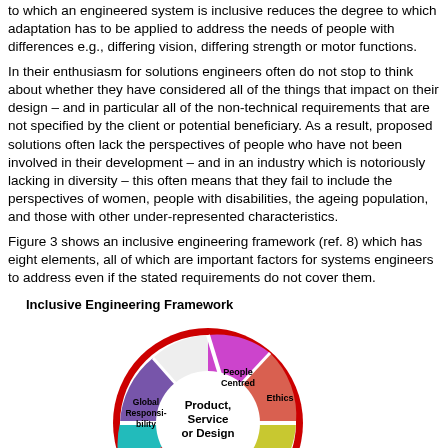to which an engineered system is inclusive reduces the degree to which adaptation has to be applied to address the needs of people with differences e.g., differing vision, differing strength or motor functions.
In their enthusiasm for solutions engineers often do not stop to think about whether they have considered all of the things that impact on their design – and in particular all of the non-technical requirements that are not specified by the client or potential beneficiary. As a result, proposed solutions often lack the perspectives of people who have not been involved in their development – and in an industry which is notoriously lacking in diversity – this often means that they fail to include the perspectives of women, people with disabilities, the ageing population, and those with other under-represented characteristics.
Figure 3 shows an inclusive engineering framework (ref. 8) which has eight elements, all of which are important factors for systems engineers to address even if the stated requirements do not cover them.
[Figure (pie-chart): A pie/wheel diagram showing the Inclusive Engineering Framework with eight segments around a central circle labeled 'Product, Service or Design'. Segments visible include: People Centred (magenta/pink), Ethics (salmon/red-orange), SDGs (yellow-green), Natural Environment (teal/cyan), Global Responsibility (purple), and others. The outer ring is red/dark red.]